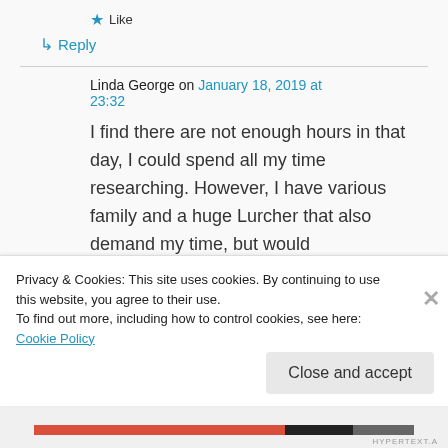★ Like
↳ Reply
Linda George on January 18, 2019 at 23:32
I find there are not enough hours in that day, I could spend all my time researching. However, I have various family and a huge Lurcher that also demand my time, but would
Privacy & Cookies: This site uses cookies. By continuing to use this website, you agree to their use.
To find out more, including how to control cookies, see here: Cookie Policy
Close and accept